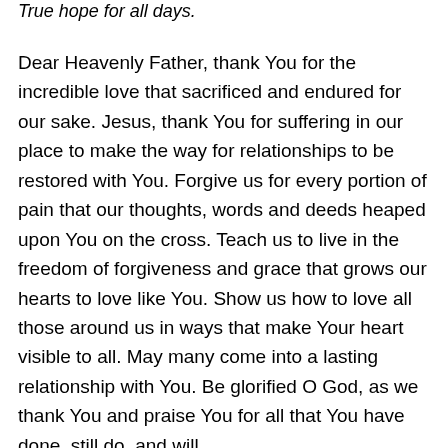True hope for all days.
Dear Heavenly Father, thank You for the incredible love that sacrificed and endured for our sake. Jesus, thank You for suffering in our place to make the way for relationships to be restored with You. Forgive us for every portion of pain that our thoughts, words and deeds heaped upon You on the cross. Teach us to live in the freedom of forgiveness and grace that grows our hearts to love like You. Show us how to love all those around us in ways that make Your heart visible to all. May many come into a lasting relationship with You. Be glorified O God, as we thank You and praise You for all that You have done, still do, and will